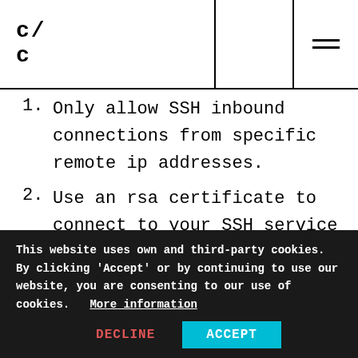c/c
1. Only allow SSH inbound connections from specific remote ip addresses.
2. Use an rsa certificate to connect to your SSH service instead of a password.
3. Enable second factor of authentication (2FA).
These steps are still some of the best ways to
Did you find this interesting? Check out more recent intel here
This website uses own and third-party cookies. By clicking 'Accept' or by continuing to use our website, you are consenting to our use of cookies.   More information